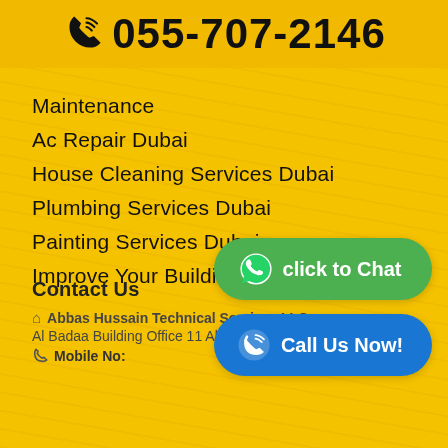055-707-2146
Maintenance
Ac Repair Dubai
House Cleaning Services Dubai
Plumbing Services Dubai
Painting Services Dubai
Improve Your Building
Contact Us
Abbas Hussain Technical Services LLC
Al Badaa Building Office 11 Al Satw
Mobile No:
[Figure (other): WhatsApp click to Chat button (green rounded button with WhatsApp icon)]
[Figure (other): Call Us Now button (blue rounded button with phone icon)]